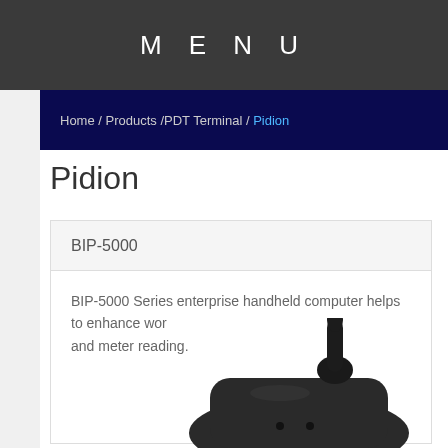MENU
Home / Products /PDT Terminal / Pidion
Pidion
BIP-5000
BIP-5000 Series enterprise handheld computer helps to enhance work and meter reading.
[Figure (photo): Top view of a black handheld device (BIP-5000) with a prominent antenna protruding from the top]